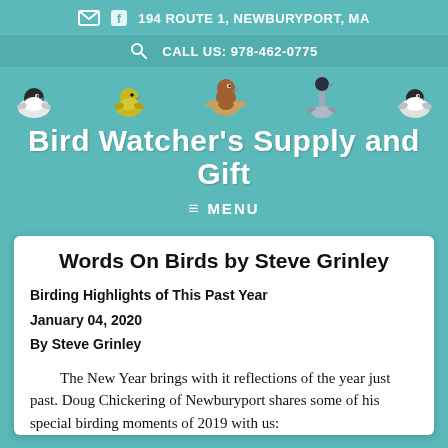✉ f  194 ROUTE 1, NEWBURYPORT, MA
🔍  CALL US: 978-462-0775
Bird Watcher's Supply and Gift
≡ MENU
Words On Birds by Steve Grinley
Birding Highlights of This Past Year
January 04, 2020
By Steve Grinley
The New Year brings with it reflections of the year just past. Doug Chickering of Newburyport shares some of his special birding moments of 2019 with us: